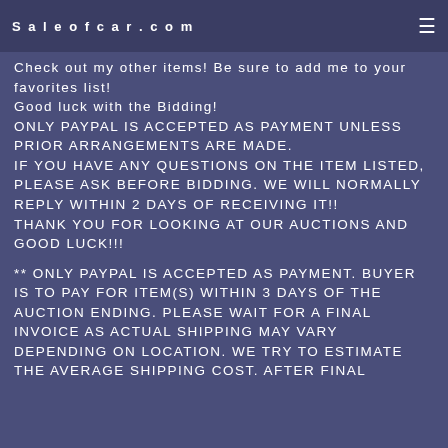Saleofcar.com
Check out my other items! Be sure to add me to your favorites list!
Good luck with the Bidding!
ONLY PAYPAL IS ACCEPTED AS PAYMENT UNLESS PRIOR ARRANGEMENTS ARE MADE.
IF YOU HAVE ANY QUESTIONS ON THE ITEM LISTED, PLEASE ASK BEFORE BIDDING. WE WILL NORMALLY REPLY WITHIN 2 DAYS OF RECEIVING IT!!
THANK YOU FOR LOOKING AT OUR AUCTIONS AND GOOD LUCK!!!
** ONLY PAYPAL IS ACCEPTED AS PAYMENT. BUYER IS TO PAY FOR ITEM(S) WITHIN 3 DAYS OF THE AUCTION ENDING. PLEASE WAIT FOR A FINAL INVOICE AS ACTUAL SHIPPING MAY VARY DEPENDING ON LOCATION. WE TRY TO ESTIMATE THE AVERAGE SHIPPING COST. AFTER FINAL